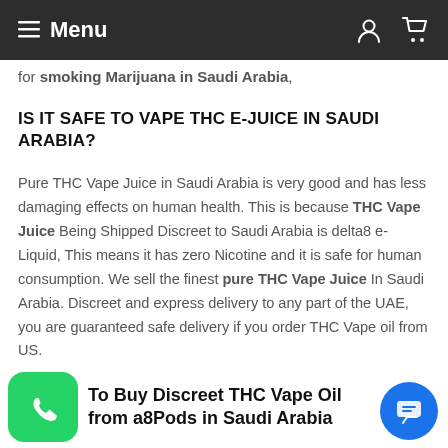Menu
for smoking Marijuana in Saudi Arabia,
IS IT SAFE TO VAPE THC E-JUICE IN SAUDI ARABIA?
Pure THC Vape Juice in Saudi Arabia is very good and has less damaging effects on human health. This is because THC Vape Juice Being Shipped Discreet to Saudi Arabia is delta8 e-Liquid, This means it has zero Nicotine and it is safe for human consumption. We sell the finest pure THC Vape Juice In Saudi Arabia. Discreet and express delivery to any part of the UAE, you are guaranteed safe delivery if you order THC Vape oil from US.
To Buy Discreet THC Vape Oil from a8Pods in Saudi Arabia